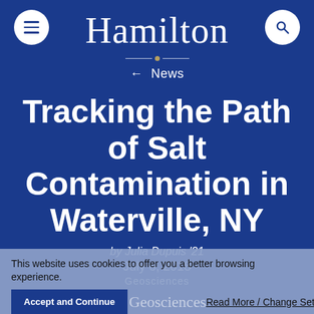Hamilton
← News
Tracking the Path of Salt Contamination in Waterville, NY
by Julia Dupuis '21
July 6, 2018
Geosciences
This website uses cookies to offer you a better browsing experience.
Accept and Continue  Geosciences  Read More / Change Settings